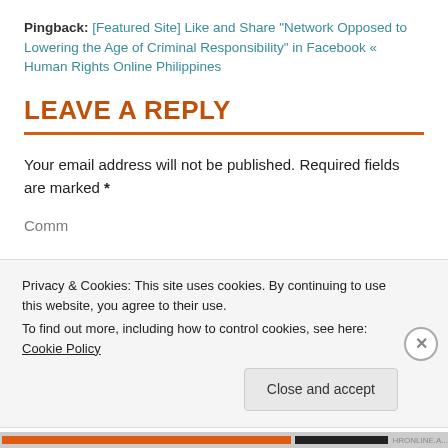Pingback: [Featured Site] Like and Share "Network Opposed to Lowering the Age of Criminal Responsibility" in Facebook « Human Rights Online Philippines
LEAVE A REPLY
Your email address will not be published. Required fields are marked *
Privacy & Cookies: This site uses cookies. By continuing to use this website, you agree to their use. To find out more, including how to control cookies, see here: Cookie Policy
Close and accept